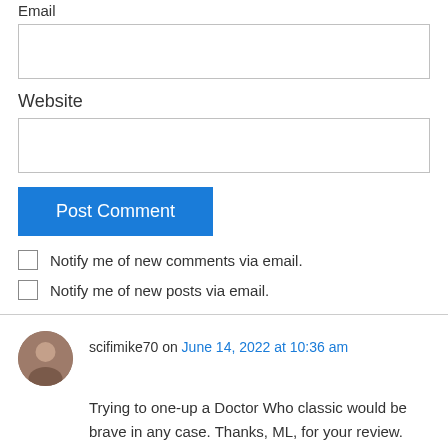Email
[Figure (other): Empty email input field]
Website
[Figure (other): Empty website input field]
Post Comment
Notify me of new comments via email.
Notify me of new posts via email.
scifimike70 on June 14, 2022 at 10:36 am
Trying to one-up a Doctor Who classic would be brave in any case. Thanks, ML, for your review.